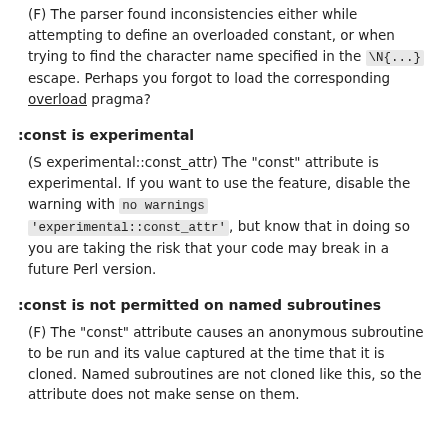(F) The parser found inconsistencies either while attempting to define an overloaded constant, or when trying to find the character name specified in the \N{...} escape. Perhaps you forgot to load the corresponding overload pragma?
:const is experimental
(S experimental::const_attr) The "const" attribute is experimental. If you want to use the feature, disable the warning with no warnings 'experimental::const_attr', but know that in doing so you are taking the risk that your code may break in a future Perl version.
:const is not permitted on named subroutines
(F) The "const" attribute causes an anonymous subroutine to be run and its value captured at the time that it is cloned. Named subroutines are not cloned like this, so the attribute does not make sense on them.